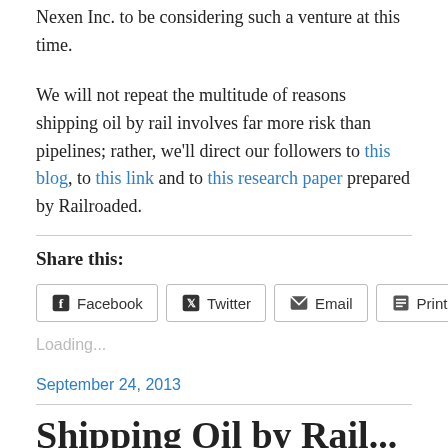Nexen Inc. to be considering such a venture at this time.
We will not repeat the multitude of reasons shipping oil by rail involves far more risk than pipelines; rather, we’ll direct our followers to this blog, to this link and to this research paper prepared by Railroaded.
Share this:
Facebook  Twitter  Email  Print
Loading…
September 24, 2013
Shipping Oil by Rail